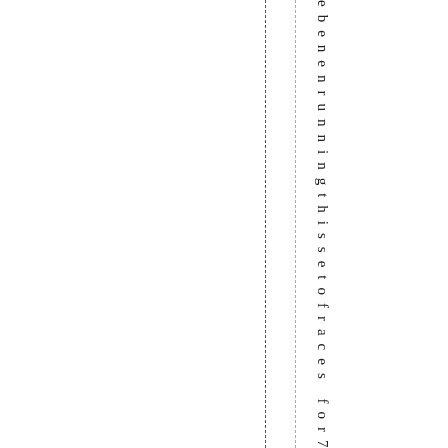ebenenrunningthissetofracesffor7